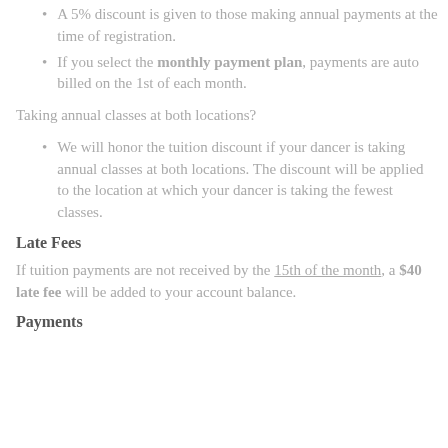A 5% discount is given to those making annual payments at the time of registration.
If you select the monthly payment plan, payments are auto billed on the 1st of each month.
Taking annual classes at both locations?
We will honor the tuition discount if your dancer is taking annual classes at both locations. The discount will be applied to the location at which your dancer is taking the fewest classes.
Late Fees
If tuition payments are not received by the 15th of the month, a $40 late fee will be added to your account balance.
Payments